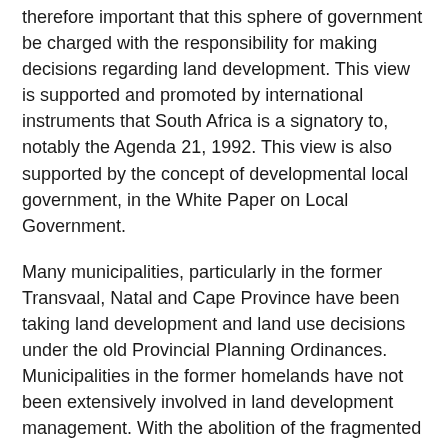therefore important that this sphere of government be charged with the responsibility for making decisions regarding land development. This view is supported and promoted by international instruments that South Africa is a signatory to, notably the Agenda 21, 1992. This view is also supported by the concept of developmental local government, in the White Paper on Local Government.
Many municipalities, particularly in the former Transvaal, Natal and Cape Province have been taking land development and land use decisions under the old Provincial Planning Ordinances. Municipalities in the former homelands have not been extensively involved in land development management. With the abolition of the fragmented South African state and the demarcation of municipal boundaries, there has been considerable confusion regarding the powers and authority of municipalities to take land development decisions in